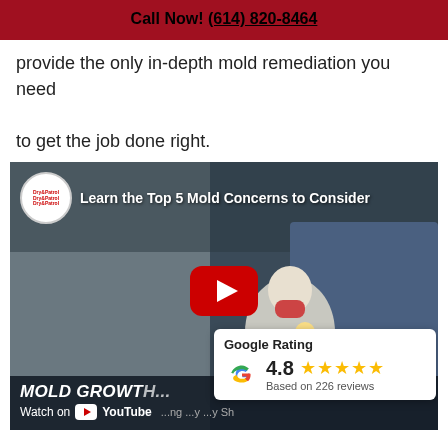Call Now! (614) 820-8464
provide the only in-depth mold remediation you need to get the job done right.
[Figure (screenshot): YouTube video thumbnail showing mold remediation workers with text 'Learn the Top 5 Mold Concerns to Consider' and a red play button. Bottom shows 'Mold growth...' text and 'Watch on YouTube'. A Google Rating overlay shows 4.8 stars based on 226 reviews.]